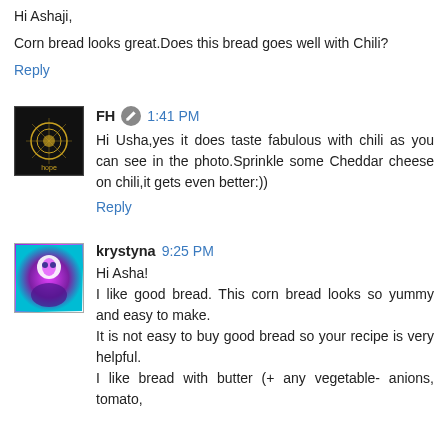Hi Ashaji,
Corn bread looks great.Does this bread goes well with Chili?
Reply
FH  1:41 PM
Hi Usha,yes it does taste fabulous with chili as you can see in the photo.Sprinkle some Cheddar cheese on chili,it gets even better:))
Reply
krystyna  9:25 PM
Hi Asha!
I like good bread. This corn bread looks so yummy and easy to make.
It is not easy to buy good bread so your recipe is very helpful.
I like bread with butter (+ any vegetable- anions, tomato,